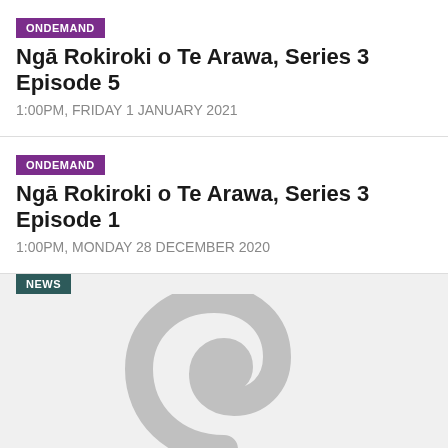ONDEMAND
Ngā Rokiroki o Te Arawa, Series 3 Episode 5
1:00PM, FRIDAY 1 JANUARY 2021
ONDEMAND
Ngā Rokiroki o Te Arawa, Series 3 Episode 1
1:00PM, MONDAY 28 DECEMBER 2020
NEWS
[Figure (logo): Māori TV koru spiral logo placeholder image in light grey on a light grey background]